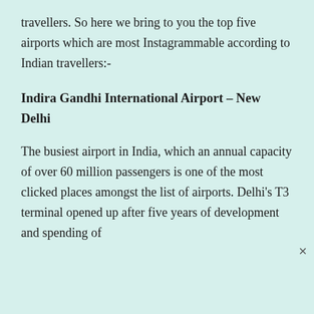travellers. So here we bring to you the top five airports which are most Instagrammable according to Indian travellers:-
Indira Gandhi International Airport – New Delhi
The busiest airport in India, which an annual capacity of over 60 million passengers is one of the most clicked places amongst the list of airports. Delhi's T3 terminal opened up after five years of development and spending of